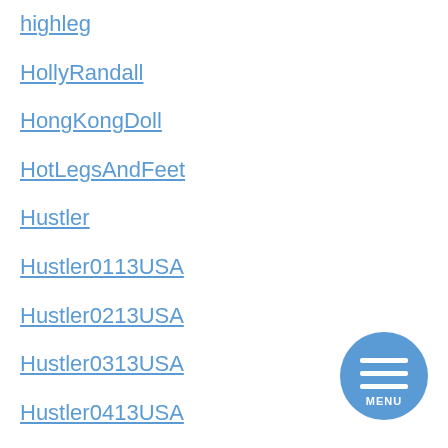highleg
HollyRandall
HongKongDoll
HotLegsAndFeet
Hustler
Hustler0113USA
Hustler0213USA
Hustler0313USA
Hustler0413USA
Hustler0513USA
Hustler0613USA
Hustler0713USA
Hustler0813USA